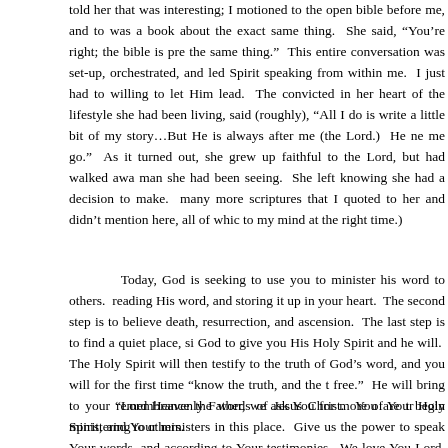told her that was interesting; I motioned to the open bible before me, and to was a book about the exact same thing. She said, "You're right; the bible is pre the same thing." This entire conversation was set-up, orchestrated, and led Spirit speaking from within me. I just had to willing to let Him lead. The convicted in her heart of the lifestyle she had been living, said (roughly), "All I do is write a little bit of my story…But He is always after me (the Lord.) He ne me go." As it turned out, she grew up faithful to the Lord, but had walked awa man she had been seeing. She left knowing she had a decision to make. many more scriptures that I quoted to her and didn't mention here, all of whic to my mind at the right time.)
Today, God is seeking to use you to minister his word to others. reading His word, and storing it up in your heart. The second step is to believe death, resurrection, and ascension. The last step is to find a quiet place, si God to give you His Holy Spirit and he will. The Holy Spirit will then testify to the truth of God's word, and you will for the first time "know the truth, and the t free." He will bring to your remembrance the words of Jesus Christ. You are t begin ministering to others.
"Lord Heavenly Father, we ask You for more of Your Holy Spirit, and Your ministers in this place. Give us the power to speak Your words, and according to Your testimonies. We love You Lord, we praise You, and wo tha